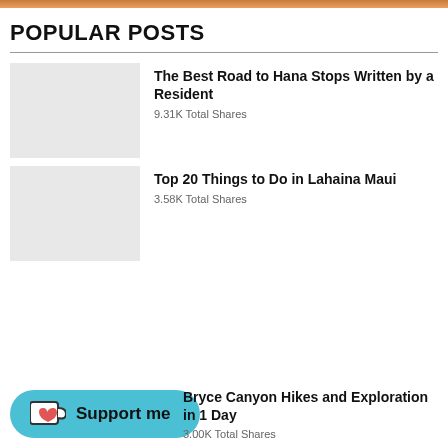POPULAR POSTS
The Best Road to Hana Stops Written by a Resident — 9.31K Total Shares
Top 20 Things to Do in Lahaina Maui — 3.58K Total Shares
Bryce Canyon Hikes and Exploration in 1 Day
[Figure (other): Support me button with Ko-fi cup icon]